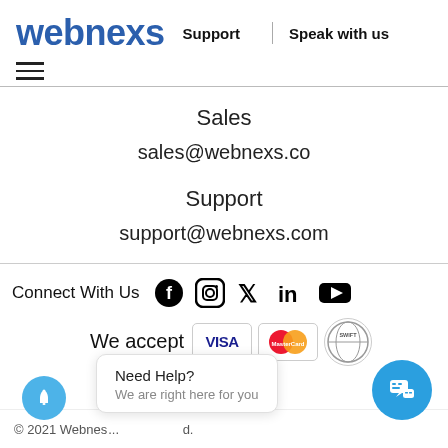webnexs
Support | Speak with us
Sales
sales@webnexs.co
Support
support@webnexs.com
Connect With Us
[Figure (infographic): Social media icons: Facebook, Instagram, Twitter, LinkedIn, YouTube]
We accept
[Figure (infographic): Payment icons: VISA, MasterCard, SWIFT]
Need Help? We are right here for you
© 2021 Webne...d.